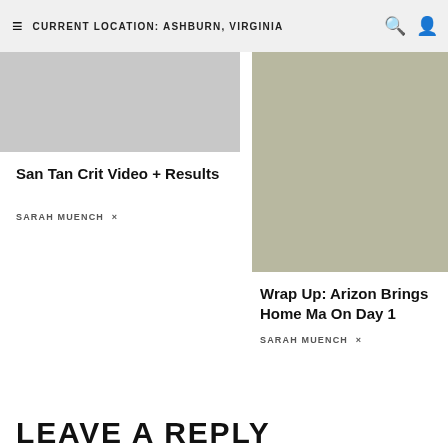CURRENT LOCATION: ASHBURN, VIRGINIA
[Figure (photo): Light gray placeholder image for San Tan Crit article]
San Tan Crit Video + Results
SARAH MUENCH ×
[Figure (photo): Olive/khaki gray placeholder image for Arizona Wrap Up article]
Wrap Up: Arizona Brings Home Ma On Day 1
SARAH MUENCH ×
LEAVE A REPLY